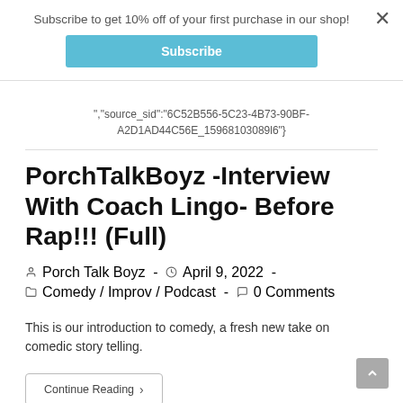Subscribe to get 10% off of your first purchase in our shop!
Subscribe
","source_sid":"6C52B556-5C23-4B73-90BF-A2D1AD44C56E_15968103089l6"}
PorchTalkBoyz -Interview With Coach Lingo- Before Rap!!! (Full)
Porch Talk Boyz  -  April 9, 2022  -
Comedy / Improv / Podcast  -  0 Comments
This is our introduction to comedy, a fresh new take on comedic story telling.
Continue Reading ›